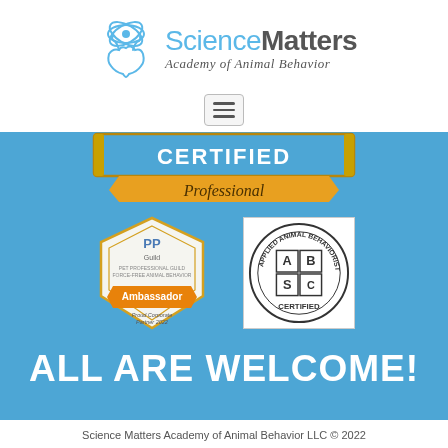[Figure (logo): Science Matters Academy of Animal Behavior logo with atomic/dog graphic]
[Figure (other): Hamburger menu button icon]
[Figure (other): CERTIFIED Professional banner badge (blue and gold)]
[Figure (other): Pet Professional Guild Ambassador - Proud Corporate Partner 2022 badge]
[Figure (other): Applied Animal Behaviorist Certified circular logo badge]
ALL ARE WELCOME!
Science Matters Academy of Animal Behavior LLC © 2022